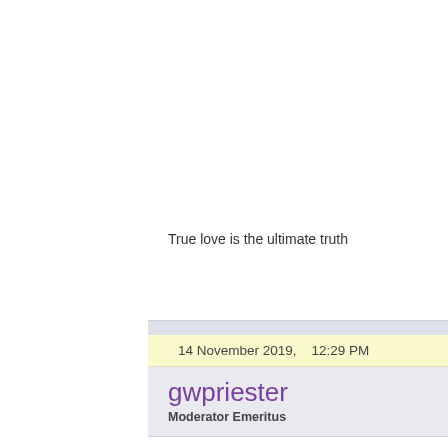True love is the ultimate truth
14 November 2019,    12:29 PM
gwpriester
Moderator Emeritus
Re: Eagle and elephant brushes
Awesome.
Gary W. Priester
Mr. Moderator Emeritus Dude, Sir